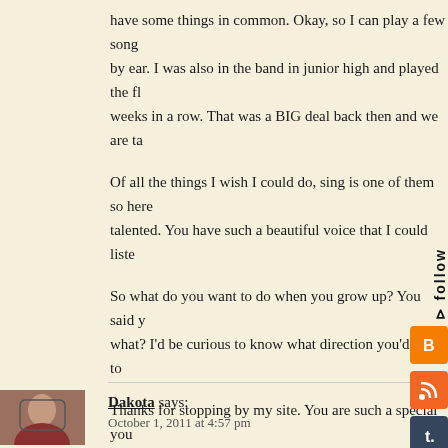have some things in common. Okay, so I can play a few songs by ear. I was also in the band in junior high and played the fl... weeks in a row. That was a BIG deal back then and we are ta...
Of all the things I wish I could do, sing is one of them so here... talented. You have such a beautiful voice that I could liste...
So what do you want to do when you grow up? You said y... what? I'd be curious to know what direction you'd like to...
Thanks for stopping by my site. You are such a special y... best, have a wonderful day.
Adrienne
[Figure (screenshot): Social media follow sidebar with icons: Blogger, RSS, Tumblr, Twitter, WordPress]
Dakota says:
October 1, 2011 at 4:57 pm